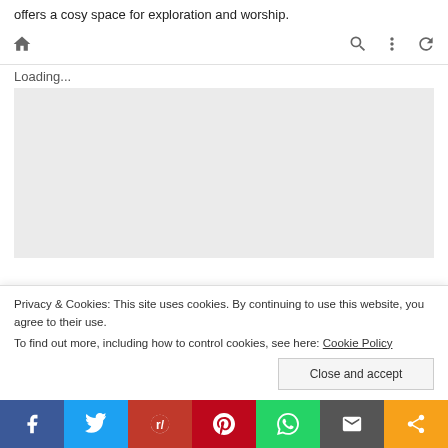offers a cosy space for exploration and worship.
[Figure (screenshot): Browser toolbar with home icon on left, search, more options, and refresh icons on right, followed by Loading... text and a gray loading content box]
Privacy & Cookies: This site uses cookies. By continuing to use this website, you agree to their use.
To find out more, including how to control cookies, see here: Cookie Policy
Close and accept
[Figure (infographic): Social share bar with Facebook, Twitter, Reddit, Pinterest, WhatsApp, Email, and Share buttons]